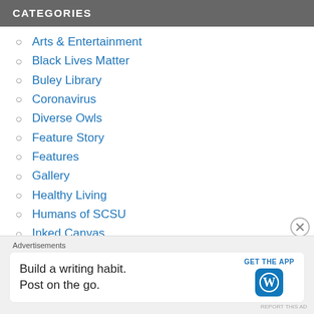CATEGORIES
Arts & Entertainment
Black Lives Matter
Buley Library
Coronavirus
Diverse Owls
Feature Story
Features
Gallery
Healthy Living
Humans of SCSU
Inked Canvas
Lifestyle
Advertisements
Build a writing habit. Post on the go. GET THE APP